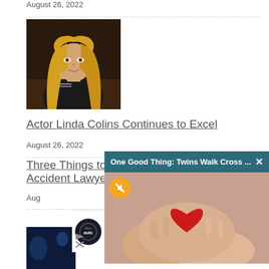August 26, 2022
[Figure (photo): Blonde woman leaning on hand at a table, wearing dark top and bracelets]
Actor Linda Colins Continues to Excel
August 26, 2022
Three Things to Keep ... Accident Lawyer
Aug...
[Figure (screenshot): Browser notification popup showing 'One Good Thing: Twins Walk Cross ...' with a photo of hands holding a red heart, and a mute button. Below is a Goodyear Auto ad showing 'Virginia T...']
[Figure (photo): Small blue/dark image partially visible at bottom left]